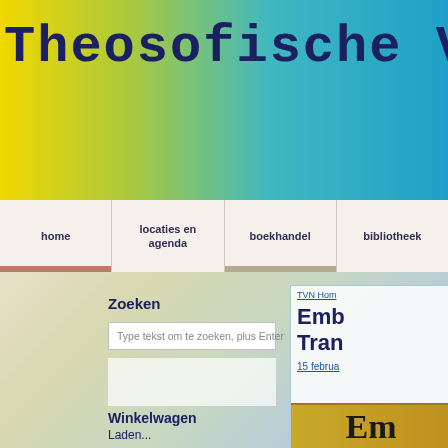Theosofische Vere
home
locaties en agenda
boekhandel
bibliotheek
TVN Hom
Emb
Tran
15 februa
Zoeken
Type tekst om te zoeken, plus Enter
Winkelwagen
Laden...